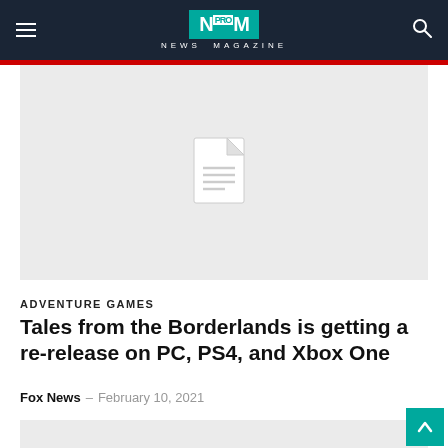NEWS MAGAZINE
[Figure (other): Placeholder image with document icon on light gray background]
ADVENTURE GAMES
Tales from the Borderlands is getting a re-release on PC, PS4, and Xbox One
Fox News - February 10, 2021
[Figure (other): Partially visible gray placeholder image at the bottom of the page]